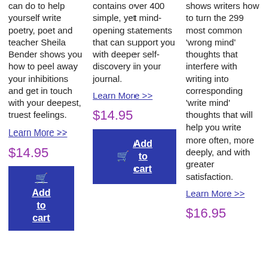can do to help yourself write poetry, poet and teacher Sheila Bender shows you how to peel away your inhibitions and get in touch with your deepest, truest feelings.
Learn More >>
$14.95
🛒 Add to cart
contains over 400 simple, yet mind-opening statements that can support you with deeper self-discovery in your journal.
Learn More >>
$14.95
🛒 Add to cart
shows writers how to turn the 299 most common 'wrong mind' thoughts that interfere with writing into corresponding 'write mind' thoughts that will help you write more often, more deeply, and with greater satisfaction.
Learn More >>
$16.95